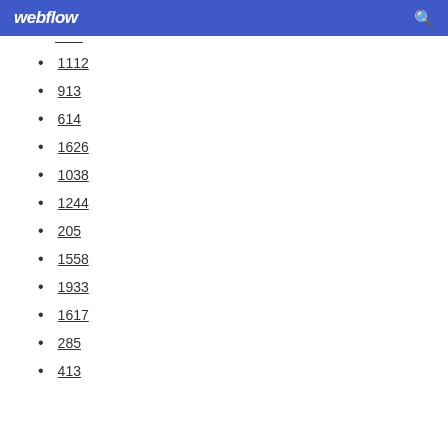webflow
1112
913
614
1626
1038
1244
205
1558
1933
1617
285
413